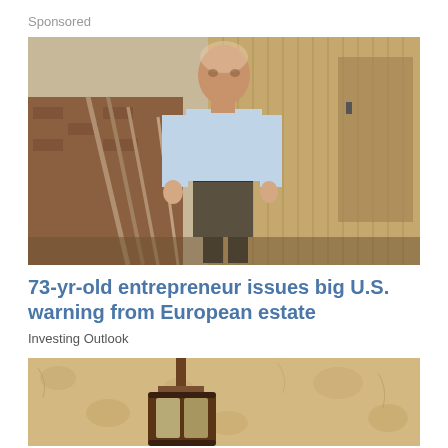Sponsored
[Figure (photo): An older man in a light blue shirt and dark trousers standing in front of a wooden barn door with stacked bricks and wooden planks on the left]
73-yr-old entrepreneur issues big U.S. warning from European estate
Investing Outlook
[Figure (photo): Close-up of an old rusty metal lantern or light fixture on a textured tan/cream wall]